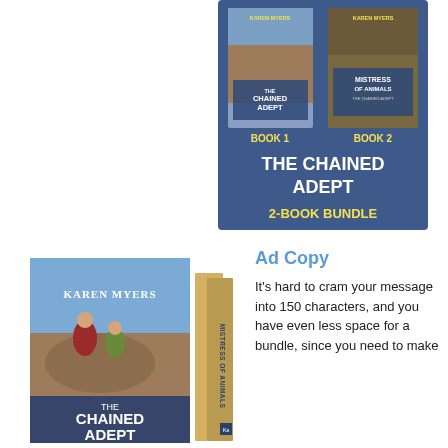[Figure (illustration): The Chained Adept 2-Book Bundle promotional image showing Book 1 (The Chained Adept) and Book 2 (Mistress of Animals) covers on a blue background with text 'THE CHAINED ADEPT 2-BOOK BUNDLE']
[Figure (illustration): Box set image of The Chained Adept series showing a 3D book box set with Karen Myers author name, featuring two women on horseback]
Ad Copy
It's hard to cram your message into 150 characters, and you have even less space for a bundle, since you need to make